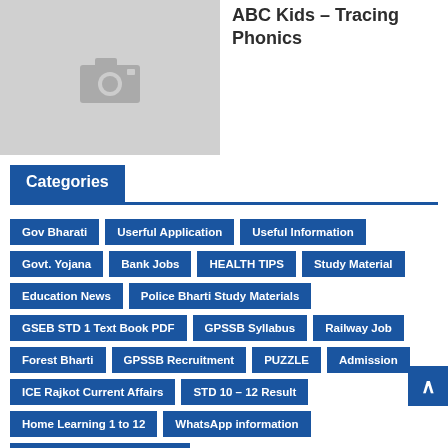[Figure (photo): Gray placeholder image with camera icon]
ABC Kids - Tracing Phonics
Categories
Gov Bharati
Userful Application
Useful Information
Govt. Yojana
Bank Jobs
HEALTH TIPS
Study Material
Education News
Police Bharti Study Materials
GSEB STD 1 Text Book PDF
GPSSB Syllabus
Railway Job
Forest Bharti
GPSSB Recruitment
PUZZLE
Admission
ICE Rajkot Current Affairs
STD 10 – 12 Result
Home Learning 1 to 12
WhatsApp information
All Gujarati News Paper PDF